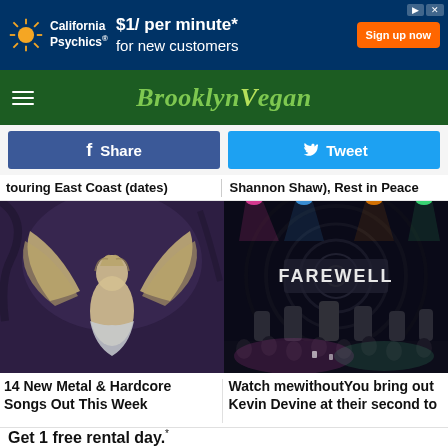[Figure (other): California Psychics advertisement banner: '$1/ per minute* for new customers' with orange 'Sign up now' button on dark blue background]
BrooklynVegan
[Figure (other): Share button (Facebook blue) and Tweet button (Twitter blue)]
touring East Coast (dates)
Shannon Shaw), Rest in Peace
[Figure (illustration): Dark fantasy illustration of an angelic figure with large wings, looking downward]
[Figure (photo): Concert photo showing a stage with 'FAREWELL' sign and band performing under colorful lights]
14 New Metal & Hardcore Songs Out This Week
Watch mewithoutYou bring out Kevin Devine at their second to
[Figure (other): Hertz advertisement: 'Get 1 free rental day.* Hertz. Let’s Go!' with Book Now button]